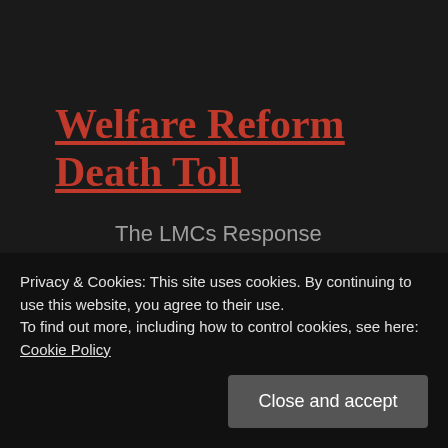Welfare Reform Death Toll
The LMCs Response
Privacy & Cookies: This site uses cookies. By continuing to use this website, you agree to their use.
To find out more, including how to control cookies, see here: Cookie Policy
Close and accept